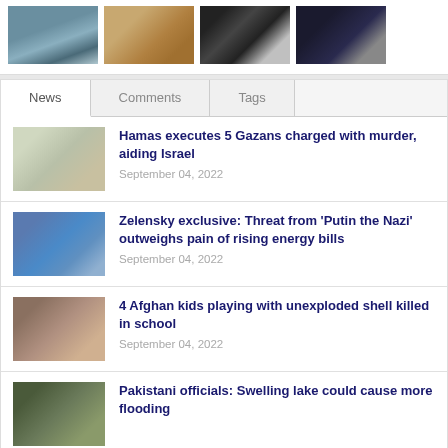[Figure (photo): Four thumbnail photos: harbor/boats, ancient ruins, flags silhouette, two men in suits]
News	Comments	Tags
[Figure (photo): Map of Gaza region thumbnail]
Hamas executes 5 Gazans charged with murder, aiding Israel
September 04, 2022
[Figure (photo): Zelensky with crowd/military thumbnail]
Zelensky exclusive: Threat from 'Putin the Nazi' outweighs pain of rising energy bills
September 04, 2022
[Figure (photo): Afghan people thumbnail]
4 Afghan kids playing with unexploded shell killed in school
September 04, 2022
[Figure (photo): Rescue/flood scene thumbnail]
Pakistani officials: Swelling lake could cause more flooding